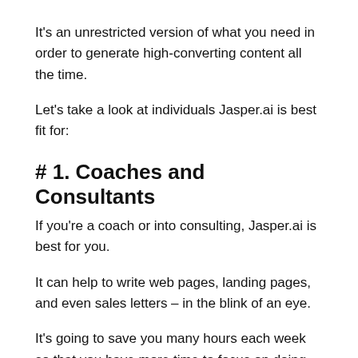It's an unrestricted version of what you need in order to generate high-converting content all the time.
Let's take a look at individuals Jasper.ai is best fit for:
# 1. Coaches and Consultants
If you're a coach or into consulting, Jasper.ai is best for you.
It can help to write web pages, landing pages, and even sales letters – in the blink of an eye.
It's going to save you many hours each week so that you have more time to focus on doing what is crucial:
Structure relationships with your customers in